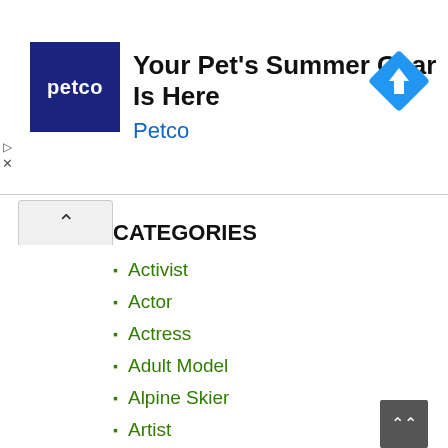[Figure (screenshot): Petco advertisement banner with dark blue Petco logo on left, headline 'Your Pet's Summer Gear Is Here' and brand name 'Petco' in blue text, and a blue navigation diamond icon on the right]
CATEGORIES
Activist
Actor
Actress
Adult Model
Alpine Skier
Artist
Athlete
Attorney
Auctioneer
Author